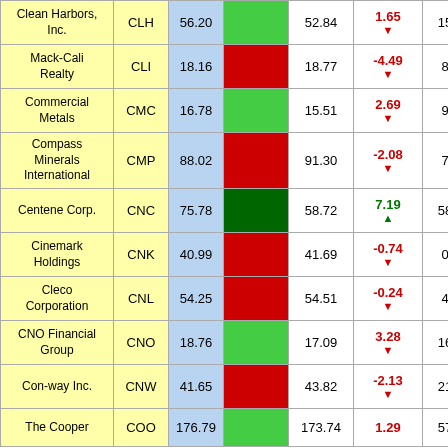| Company | Ticker | Price | Chart | Prev Close | Change | Rank |
| --- | --- | --- | --- | --- | --- | --- |
| Clean Harbors, Inc. | CLH | 56.20 | (green) | 52.84 | 1.65 ▼ | 15 |
| Mack-Cali Realty | CLI | 18.16 | (red) | 18.77 | -4.49 ▼ | 8 |
| Commercial Metals | CMC | 16.78 | (green) | 15.51 | 2.69 ▼ | 9 |
| Compass Minerals International | CMP | 88.02 | (red) | 91.30 | -2.08 ▼ | 7 |
| Centene Corp. | CNC | 75.78 | (dark green) | 58.72 | 7.19 ▲ | 58 |
| Cinemark Holdings | CNK | 40.99 | (red) | 41.69 | -0.74 ▼ | 0 |
| Cleco Corporation | CNL | 54.25 | (red) | 54.51 | -0.24 ▼ | 4 |
| CNO Financial Group | CNO | 18.76 | (green) | 17.09 | 3.28 ▼ | 16 |
| Con-way Inc. | CNW | 41.65 | (red) | 43.82 | -2.13 ▼ | 21 |
| The Cooper | COO | 176.79 | (green) | 173.74 | 1.29 | 57 |